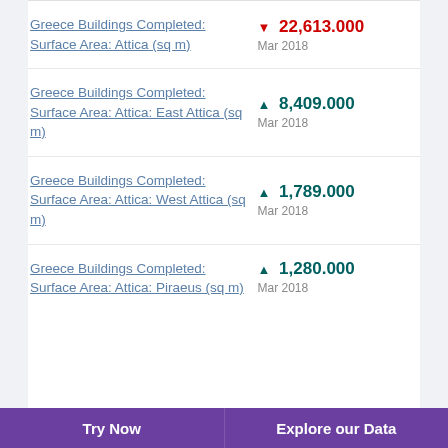Greece Buildings Completed: Surface Area: Attica (sq m) ▼ 22,613.000 Mar 2018
Greece Buildings Completed: Surface Area: Attica: East Attica (sq m) ▲ 8,409.000 Mar 2018
Greece Buildings Completed: Surface Area: Attica: West Attica (sq m) ▲ 1,789.000 Mar 2018
Greece Buildings Completed: Surface Area: Attica: Piraeus (sq m) ▲ 1,280.000 Mar 2018
Try Now   Explore our Data